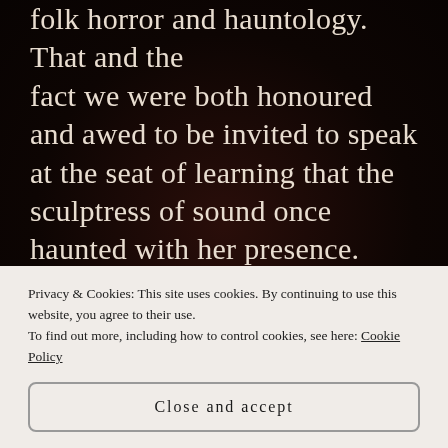folk horror and hauntology. That and the fact we were both honoured and awed to be invited to speak at the seat of learning that the sculptress of sound once haunted with her presence.

Caroline Catz's impressive documentary / docu-drama Delia Derbyshire: The Myths and the Legendary Tapes (broadcast as part of the BBC's Arena documentary series) for the
Privacy & Cookies: This site uses cookies. By continuing to use this website, you agree to their use.
To find out more, including how to control cookies, see here: Cookie Policy
Close and accept